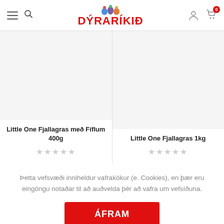DÝRARÍKIÐ
Little One Fjallagras með Fíflum 400g
Little One Fjallagras 1kg
Þetta vefsvæði inniheldur vafrakökur (e. Cookies), en þær eru eingöngu notaðar til að auðvelda þér að vafra um vefsíðuna.
ÁFRAM
SKOÐA NÁNAR